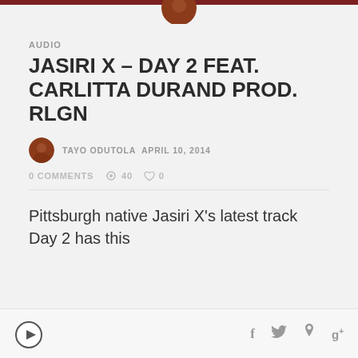AUDIO
JASIRI X – DAY 2 FEAT. CARLITTA DURAND PROD. RLGN
TAYO ODUTOLA  APRIL 10, 2014
0 COMMENTS  40  0
Pittsburgh native Jasiri X's latest track Day 2 has this